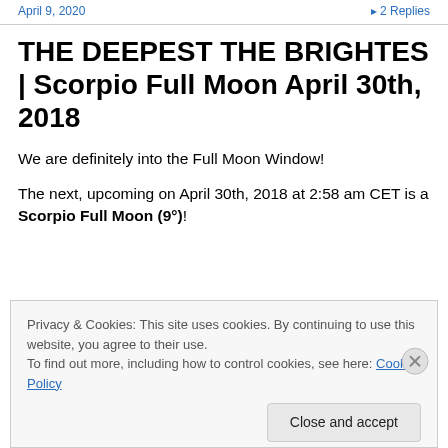April 9, 2020   • 2 Replies
THE DEEPEST THE BRIGHTES | Scorpio Full Moon April 30th, 2018
We are definitely into the Full Moon Window!
The next, upcoming on April 30th, 2018 at 2:58 am CET is a Scorpio Full Moon (9°)!
Privacy & Cookies: This site uses cookies. By continuing to use this website, you agree to their use.
To find out more, including how to control cookies, see here: Cookie Policy
Close and accept